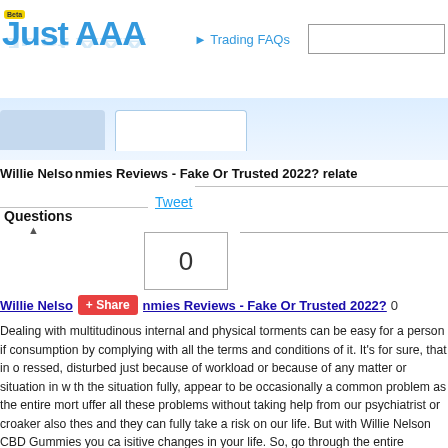Just AAA (Beta) — Trading FAQs — Search box
Willie Nelson ... nmies Reviews - Fake Or Trusted 2022? relate...
Tweet
Questions
0
Willie Nelso... nmies Reviews - Fake Or Trusted 2022?
Dealing with multitudinous internal and physical torments can be easy for a person if consumption by complying with all the terms and conditions of it. It's for sure, that in o ressed, disturbed just because of workload or because of any matter or situation in w th the situation fully, appear to be occasionally a common problem as the entire mort uffer all these problems without taking help from our psychiatrist or croaker also thes and they can fully take a risk on our life. But with Willie Nelson CBD Gummies you ca isitive changes in your life. So, go through the entire composition to know further abo Willie Nelson CBD Gummies And Constituents Used In It? Willie Nelson CBD Gumm ms of CBD which can also be seen to be used in preparing colorful drugs. Willie Nels excerpt that has the quality to cure multitudinous internal and physical health issues n conditions, indigestion, habitual pain, andetc. the product is useful for offering its co dinous internal problems. What are some important effects to keep in mind while ex